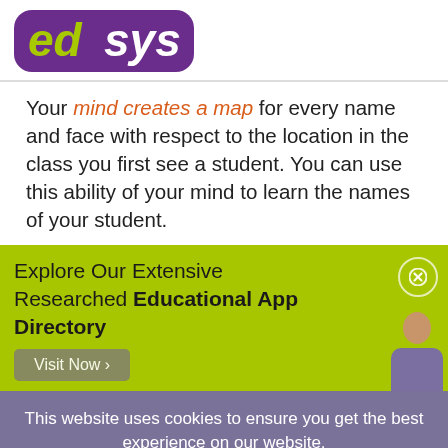[Figure (logo): edsys logo with green 'ed' text and purple 'sys' text in a rounded rectangle]
Your mind creates a map for every name and face with respect to the location in the class you first see a student. You can use this ability of your mind to learn the names of your student.
Explore Our Extensive Researched Educational App Directory
This website uses cookies to ensure you get the best experience on our website.
Accept Cookies   Decline
This is the time when everybody is...